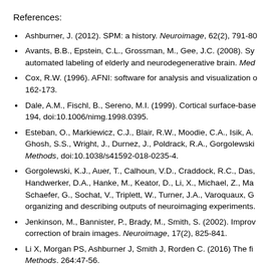References:
Ashburner, J. (2012). SPM: a history. Neuroimage, 62(2), 791-80
Avants, B.B., Epstein, C.L., Grossman, M., Gee, J.C. (2008). Sy automated labeling of elderly and neurodegenerative brain. Med
Cox, R.W. (1996). AFNI: software for analysis and visualization of 162-173.
Dale, A.M., Fischl, B., Sereno, M.I. (1999). Cortical surface-base 194, doi:10.1006/nimg.1998.0395.
Esteban, O., Markiewicz, C.J., Blair, R.W., Moodie, C.A., Isik, A. Ghosh, S.S., Wright, J., Durnez, J., Poldrack, R.A., Gorgolewski Methods, doi:10.1038/s41592-018-0235-4.
Gorgolewski, K.J., Auer, T., Calhoun, V.D., Craddock, R.C., Das, Handwerker, D.A., Hanke, M., Keator, D., Li, X., Michael, Z., Ma Schaefer, G., Sochat, V., Triplett, W., Turner, J.A., Varoquaux, G organizing and describing outputs of neuroimaging experiments.
Jenkinson, M., Bannister, P., Brady, M., Smith, S. (2002). Improv correction of brain images. Neuroimage, 17(2), 825-841.
Li X, Morgan PS, Ashburner J, Smith J, Rorden C. (2016) The fi Methods. 264:47-56.